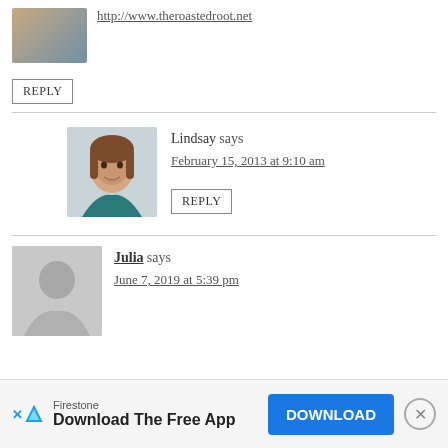http://www.theroastedroot.net
REPLY
Lindsay says
February 15, 2013 at 9:10 am
REPLY
Julia says
June 7, 2019 at 5:39 pm
Firestone Download The Free App DOWNLOAD